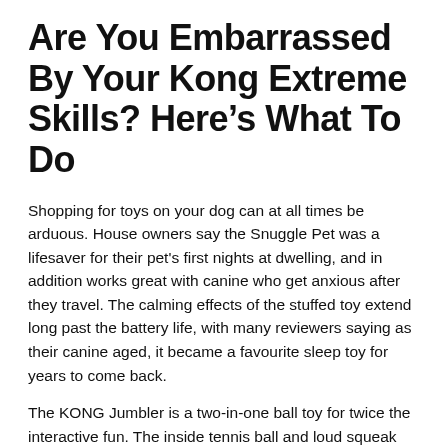Are You Embarrassed By Your Kong Extreme Skills? Here's What To Do
Shopping for toys on your dog can at all times be arduous. House owners say the Snuggle Pet was a lifesaver for their pet's first nights at dwelling, and in addition works great with canine who get anxious after they travel. The calming effects of the stuffed toy extend long past the battery life, with many reviewers saying as their canine aged, it became a favourite sleep toy for years to come back.
The KONG Jumbler is a two-in-one ball toy for twice the interactive fun. The inside tennis ball and loud squeak entice play, while the handles make pick-up and shaking straightforward. Available in two sizes and shapes, the KONG Jumbler will guarantee an thrilling, lively play session for you and your dog.
A beagle, as an example, is known as a scent hound dog This implies he's very inclined to scent. With that in thoughts, you may